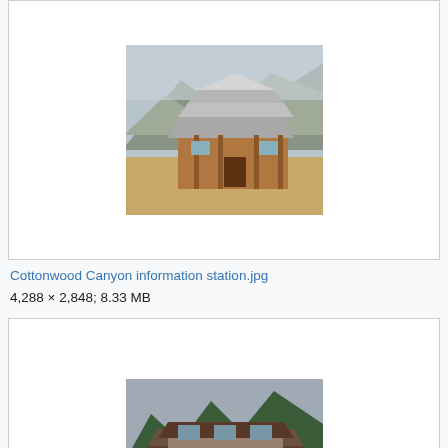[Figure (photo): Photo of Cottonwood Canyon information station, a small wooden building with a metal roof, mountains in background]
Cottonwood Canyon information station.jpg
4,288 × 2,848; 8.33 MB
[Figure (photo): Photo of Crater Lake admin building, a large lodge-style building with steep roof, mountains and trees in background]
Crater lake admin bldg.jpg
1,024 × 768; 328 KB